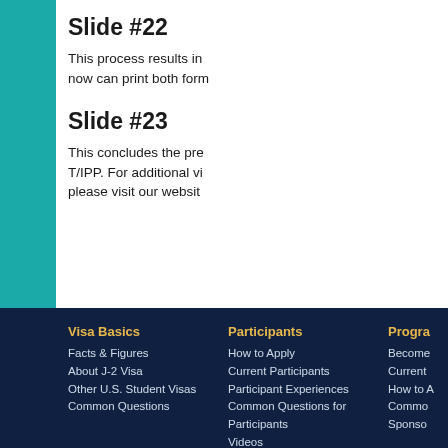Slide #22
This process results in now can print both form
Slide #23
This concludes the pre T/IPP. For additional vi please visit our websit
Visa Basics
Facts & Figures
About J-2 Visa
Other U.S. Student Visas
Common Questions
Participants
How to Apply
Current Participants
Participant Experiences
Common Questions for Participants
Videos
Progra
Become
Current
How to A
Commo Sponso